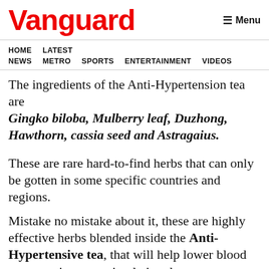Vanguard   Menu
HOME  LATEST NEWS  METRO  SPORTS  ENTERTAINMENT  VIDEOS
The ingredients of the Anti-Hypertension tea are Gingko biloba, Mulberry leaf, Duzhong, Hawthorn, cassia seed and Astragaius.
These are rare hard-to-find herbs that can only be gotten in some specific countries and regions.
Mistake no mistake about it, these are highly effective herbs blended inside the Anti-Hypertensive tea, that will help lower blood pressure, improve circulation, lowers cholesterol and get robust heart health.